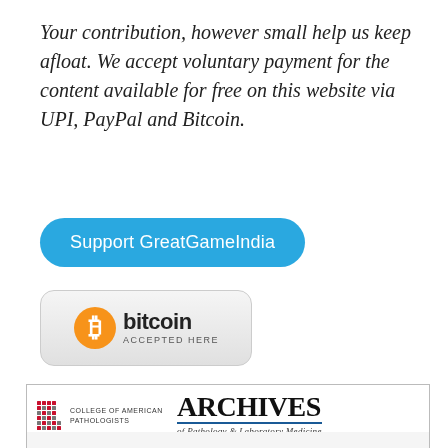Your contribution, however small help us keep afloat. We accept voluntary payment for the content available for free on this website via UPI, PayPal and Bitcoin.
[Figure (other): Blue rounded button labeled 'Support GreatGameIndia']
[Figure (logo): Bitcoin Accepted Here badge with orange Bitcoin logo icon]
[Figure (logo): College of American Pathologists logo alongside Archives of Pathology & Laboratory Medicine journal header]